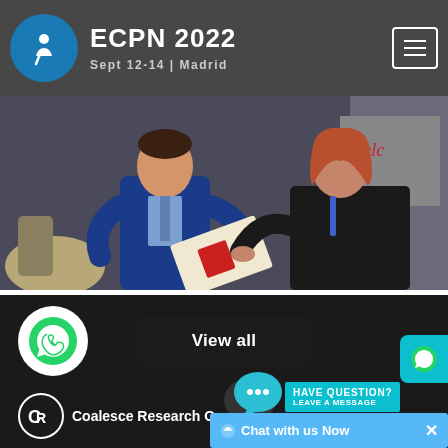ECPN 2022 | Sept 12-14 | Madrid
[Figure (photo): Conference photo showing two people exchanging documents/papers at the ECPN 2022 event in Madrid. A man in a blue suit and a woman in a black jacket are visible, with a Welcome banner in the background.]
View all
[Figure (logo): WhatsApp icon in a white circle]
[Figure (logo): Coalesce Research Group logo with text]
[Figure (infographic): Have Question? Leave a Message chat widget with blue speech bubble icon]
Chat with us Now